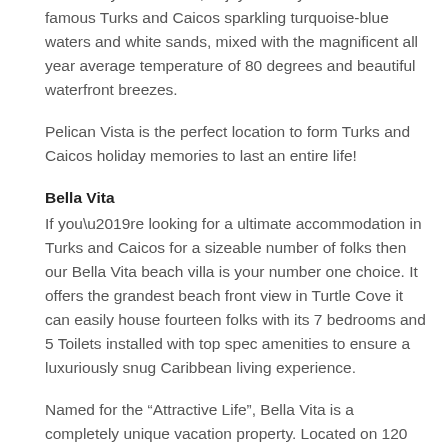Grace Bay Beach Villa, enjoy birds-eye views of the famous Turks and Caicos sparkling turquoise-blue waters and white sands, mixed with the magnificent all year average temperature of 80 degrees and beautiful waterfront breezes.
Pelican Vista is the perfect location to form Turks and Caicos holiday memories to last an entire life!
Bella Vita
If you're looking for a ultimate accommodation in Turks and Caicos for a sizeable number of folks then our Bella Vita beach villa is your number one choice. It offers the grandest beach front view in Turtle Cove it can easily house fourteen folks with its 7 bedrooms and 5 Toilets installed with top spec amenities to ensure a luxuriously snug Caribbean living experience.
Named for the “Attractive Life”, Bella Vita is a completely unique vacation property. Located on 120...